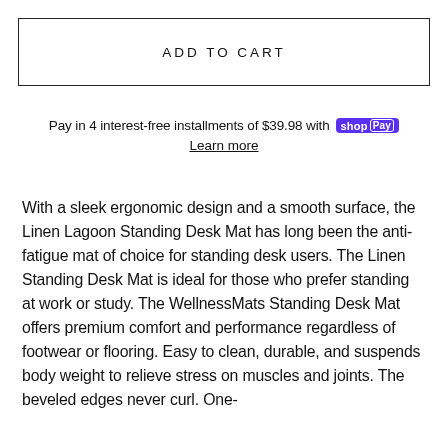ADD TO CART
Pay in 4 interest-free installments of $39.98 with shop Pay
Learn more
With a sleek ergonomic design and a smooth surface, the Linen Lagoon Standing Desk Mat has long been the anti-fatigue mat of choice for standing desk users. The Linen Standing Desk Mat is ideal for those who prefer standing at work or study. The WellnessMats Standing Desk Mat offers premium comfort and performance regardless of footwear or flooring. Easy to clean, durable, and suspends body weight to relieve stress on muscles and joints. The beveled edges never curl. One-piece construction never buckles or deteriorates.